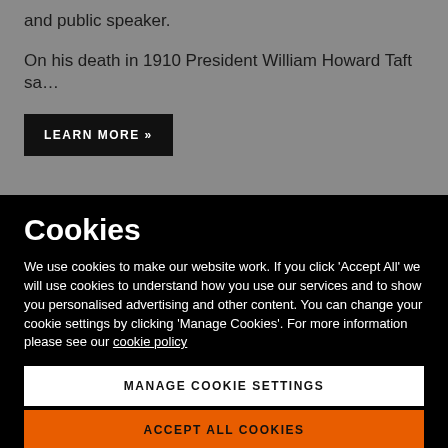and public speaker.
On his death in 1910 President William Howard Taft sa…
LEARN MORE »
Cookies
We use cookies to make our website work. If you click 'Accept All' we will use cookies to understand how you use our services and to show you personalised advertising and other content. You can change your cookie settings by clicking 'Manage Cookies'. For more information please see our cookie policy
MANAGE COOKIE SETTINGS
ACCEPT ALL COOKIES